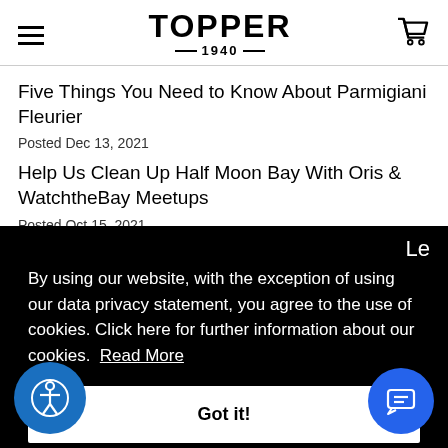TOPPER — 1940 —
Five Things You Need to Know About Parmigiani Fleurier
Posted Dec 13, 2021
Help Us Clean Up Half Moon Bay With Oris & WatchtheBay Meetups
Posted Oct 15, 2021
By using our website, with the exception of using our data privacy statement, you agree to the use of cookies. Click here for further information about our cookies. Read More
Got it!